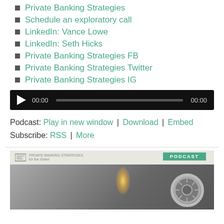Private Banking Strategies
Schedule an exploratory call
LinkedIn: Vance Lowe
LinkedIn: Seth Hicks
Private Banking Strategies FB
Private Banking Strategies Twitter
Private Banking Strategies IG
[Figure (other): Audio player widget with play button, time display showing 00:00, progress bar, and end time 00:00 on dark background]
Podcast: Play in new window | Download | Embed
Subscribe: RSS | More
[Figure (other): Podcast banner image showing Private Banking Strategies logo on light top bar, green PODCAST label top right, with background image of a vault/lock mechanism with light flare]